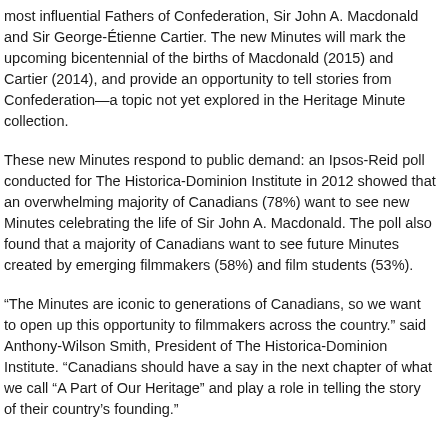most influential Fathers of Confederation, Sir John A. Macdonald and Sir George-Étienne Cartier. The new Minutes will mark the upcoming bicentennial of the births of Macdonald (2015) and Cartier (2014), and provide an opportunity to tell stories from Confederation—a topic not yet explored in the Heritage Minute collection.
These new Minutes respond to public demand: an Ipsos-Reid poll conducted for The Historica-Dominion Institute in 2012 showed that an overwhelming majority of Canadians (78%) want to see new Minutes celebrating the life of Sir John A. Macdonald. The poll also found that a majority of Canadians want to see future Minutes created by emerging filmmakers (58%) and film students (53%).
“The Minutes are iconic to generations of Canadians, so we want to open up this opportunity to filmmakers across the country.” said Anthony-Wilson Smith, President of The Historica-Dominion Institute. “Canadians should have a say in the next chapter of what we call “A Part of Our Heritage” and play a role in telling the story of their country’s founding.”